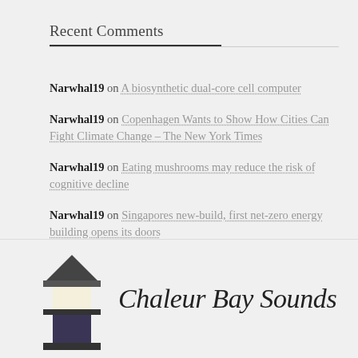Recent Comments
Narwhal19 on A biosynthetic dual-core cell computer
Narwhal19 on Copenhagen Wants to Show How Cities Can Fight Climate Change – The New York Times
Narwhal19 on Eating mushrooms may reduce the risk of cognitive decline
Narwhal19 on Singapores new-build, first net-zero energy building opens its doors
[Figure (logo): Chaleur Bay Sounds logo with a lighthouse-style icon and italic serif text]